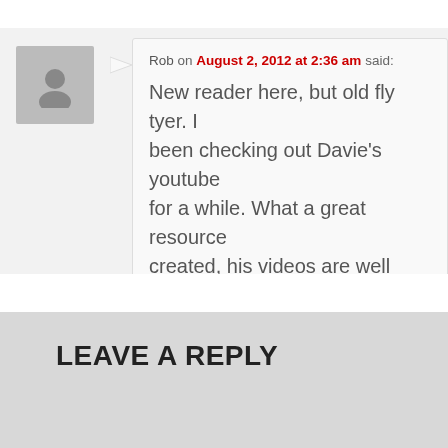Rob on August 2, 2012 at 2:36 am said: New reader here, but old fly tyer. been checking out Davie's youtube for a while. What a great resource created, his videos are well edited have learned a lot from simply wat. Do yourself a favor and check it ou
Reply ↓
Leave a Reply